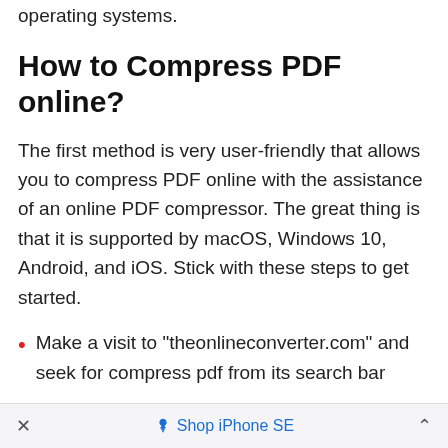operating systems.
How to Compress PDF online?
The first method is very user-friendly that allows you to compress PDF online with the assistance of an online PDF compressor. The great thing is that it is supported by macOS, Windows 10, Android, and iOS. Stick with these steps to get started.
Make a visit to “theonlineconverter.com” and seek for compress pdf from its search bar
Once you reached the PDF compressor page, then simply upload one or more PDF document files that you want to compress
×   Shop iPhone SE   ˄